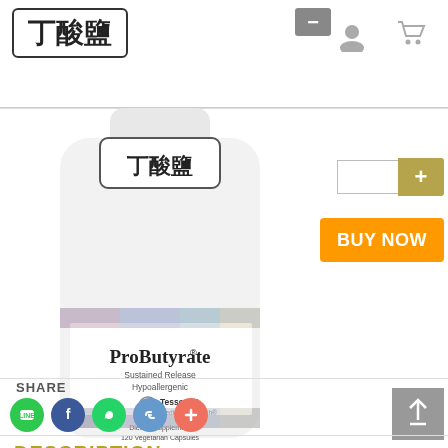丁酸鹽
[Figure (photo): Product bottle of ProButyrate Sustained Release Hypoallergenic by Tesseract Medical Research, Dietary Supplement 120 Vegetarian Capsules]
+ (add to cart button)
BUY NOW
SHARE
[Figure (other): Social share icons: LINE (green), Facebook (blue), WhatsApp (green), Link (blue-gray), Plus (salmon/red)]
DESCRIPTION
Directly imported from USA